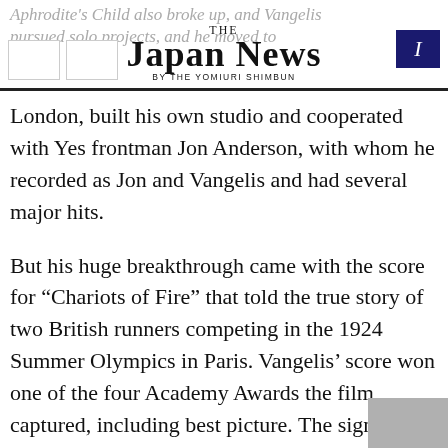THE JAPAN NEWS BY THE YOMIURI SHIMBUN
London, built his own studio and cooperated with Yes frontman Jon Anderson, with whom he recorded as Jon and Vangelis and had several major hits.
But his huge breakthrough came with the score for “Chariots of Fire” that told the true story of two British runners competing in the 1924 Summer Olympics in Paris. Vangelis’ score won one of the four Academy Awards the film captured, including best picture. The signature piece is one of the hardest-to-forget movie tunes worldwide — and has also served as the musical background to endless slow-motion parodies.
Vangelis later wrote music scores for Ridley Scott’s